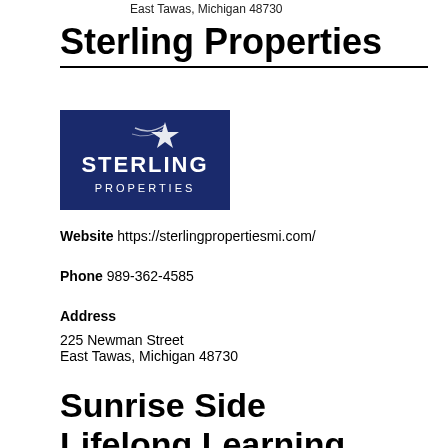East Tawas, Michigan 48730
Sterling Properties
[Figure (logo): Sterling Properties logo: dark navy blue rectangle with a shooting star graphic and white text reading STERLING PROPERTIES]
Website   https://sterlingpropertiesmi.com/
Phone  989-362-4585
Address
225 Newman Street
East Tawas, Michigan 48730
Sunrise Side Lifelong Learning